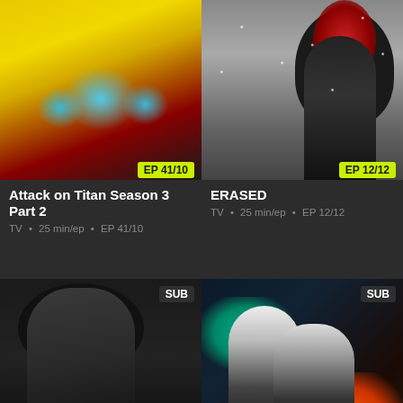[Figure (screenshot): Thumbnail for Attack on Titan Season 3 Part 2 showing Smurfs cartoon characters on a yellow/red background with EP 41/10 badge]
Attack on Titan Season 3 Part 2
TV • 25 min/ep • EP 41/10
[Figure (screenshot): Thumbnail for ERASED showing dark anime character with red figure above in snowy background with EP 12/12 badge]
ERASED
TV • 25 min/ep • EP 12/12
[Figure (screenshot): Thumbnail showing dark anime character with glowing silhouette figure, SUB badge top right]
[Figure (screenshot): Thumbnail showing Tokyo Ghoul anime characters with teal and orange lighting, SUB badge top right]